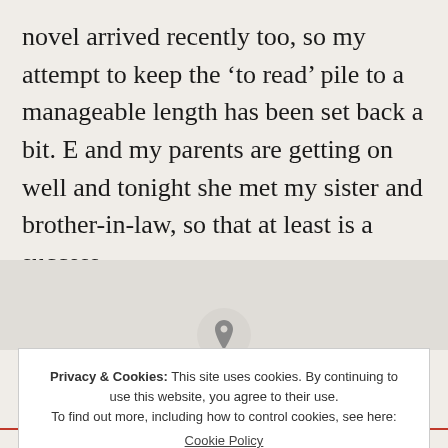novel arrived recently too, so my attempt to keep the ‘to read’ pile to a manageable length has been set back a bit. E and my parents are getting on well and tonight she met my sister and brother-in-law, so that at least is a success.
Privacy & Cookies: This site uses cookies. By continuing to use this website, you agree to their use. To find out more, including how to control cookies, see here: Cookie Policy
Close and accept